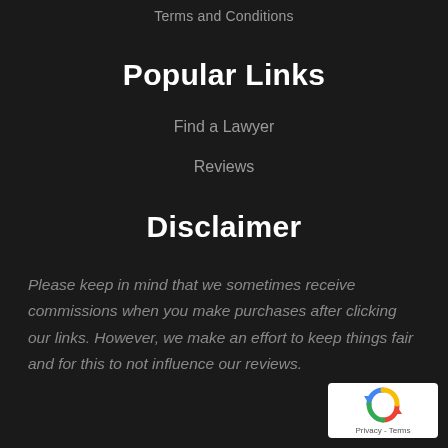Terms and Conditions
Popular Links
Find a Lawyer
Reviews
Disclaimer
Please keep in mind that we sometimes receive commissions when you make purchases after clicking our links. However, we make an effort to keep things fair and for this to not influence our reviews.
[Figure (logo): Google reCAPTCHA badge with recycling arrows icon and 'Privacy - Terms' text below]